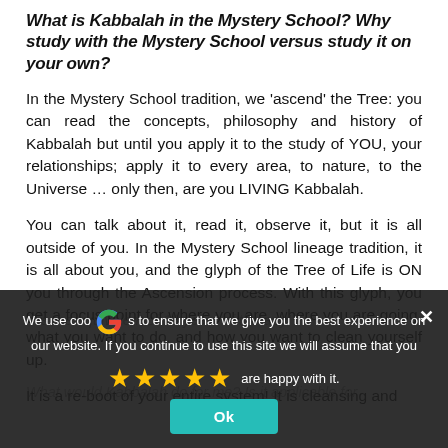What is Kabbalah in the Mystery School? Why study with the Mystery School versus study it on your own?
In the Mystery School tradition, we 'ascend' the Tree: you can read the concepts, philosophy and history of Kabbalah but until you apply it to the study of YOU, your relationships; apply it to every area, to nature, to the Universe … only then, are you LIVING Kabbalah.
You can talk about it, read it, observe it, but it is all outside of you. In the Mystery School lineage tradition, it is all about you, and the glyph of the Tree of Life is ON you through the Ascension process. With this glyph, you get a focus point for where you are, where you are going, what you want to do, and how you want to clean yourself up.
It is a re-boot of your entire system! It is cleansing and
It is the equivalent of 10 years of therapy!
What would Kabbalah do for me? Is it applicable for
[Figure (screenshot): Cookie consent overlay with Google logo, five gold stars rating, text about cookies and website experience, an Ok button, and a close X button]